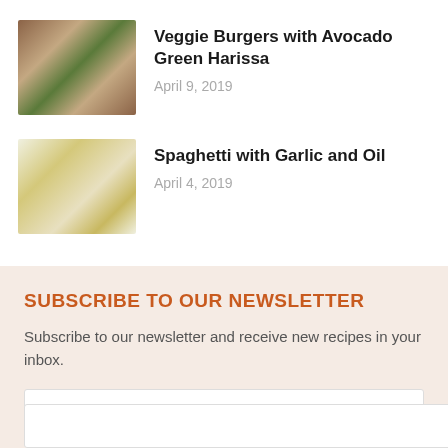[Figure (photo): Veggie burger with avocado green harissa on a bun]
Veggie Burgers with Avocado Green Harissa
April 9, 2019
[Figure (photo): Spaghetti with garlic and oil in bowls]
Spaghetti with Garlic and Oil
April 4, 2019
SUBSCRIBE TO OUR NEWSLETTER
Subscribe to our newsletter and receive new recipes in your inbox.
First name
Last name